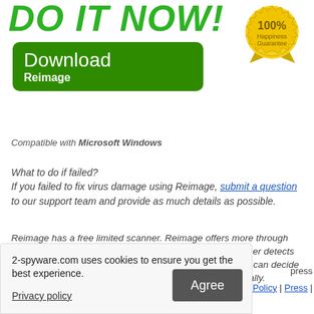DO IT NOW!
[Figure (illustration): Green download button with 'Download Reimage' text, and a gold '100% Happiness Guarantee' badge/ribbon in the top right corner]
Compatible with Microsoft Windows
What to do if failed?
If you failed to fix virus damage using Reimage, submit a question to our support team and provide as much details as possible.
Reimage has a free limited scanner. Reimage offers more through scan when you purchase its full version. When free scanner detects issues, you can fix them using free manual repairs or you can decide to purchase the full version in order to fix them automatically.
2-spyware.com uses cookies to ensure you get the best experience.
Privacy policy
Agree
press
Policy | Press |